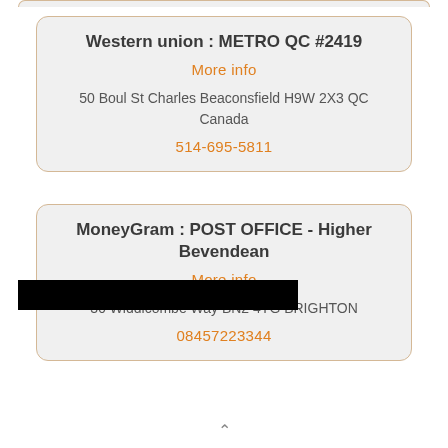Western union : METRO QC #2419
More info
50 Boul St Charles Beaconsfield H9W 2X3 QC Canada
514-695-5811
MoneyGram : POST OFFICE - Higher Bevendean
More info
36 Widdicombe Way BN2 4TG BRIGHTON
08457223344